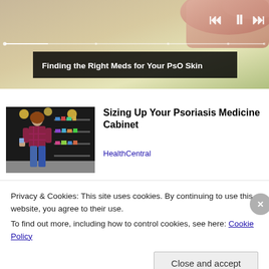[Figure (screenshot): Video player showing 'Finding the Right Meds for Your PsO Skin' with playback controls and progress bar, hand visible in background]
[Figure (photo): Woman browsing products in a pharmacy/drugstore aisle, crouching down to look at shelves]
Sizing Up Your Psoriasis Medicine Cabinet
HealthCentral
[Figure (photo): Partial image of second article thumbnail, dark blue background]
Almost Nobody Has Passed
Privacy & Cookies: This site uses cookies. By continuing to use this website, you agree to their use.
To find out more, including how to control cookies, see here: Cookie Policy
Close and accept